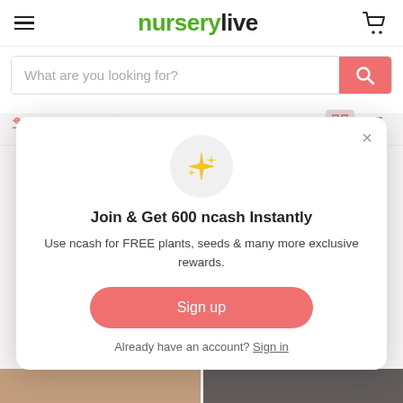nurserylive
[Figure (screenshot): Search bar with placeholder text 'What are you looking for?' and a red/coral search button]
Filters   Sort by
[Figure (infographic): Modal popup with sparkle emoji icon, title 'Join & Get 600 ncash Instantly', body text 'Use ncash for FREE plants, seeds & many more exclusive rewards.', a coral 'Sign up' button, and 'Already have an account? Sign in' link]